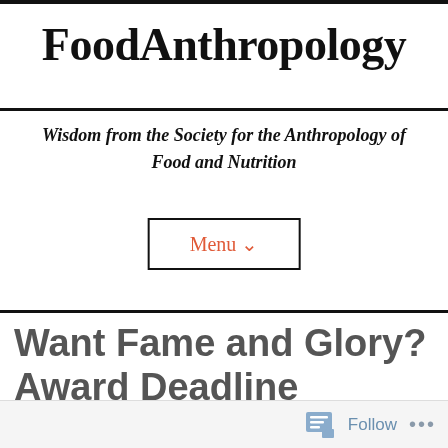FoodAnthropology
Wisdom from the Society for the Anthropology of Food and Nutrition
Menu ∨
Want Fame and Glory? Award Deadline Reminders!
Follow ...